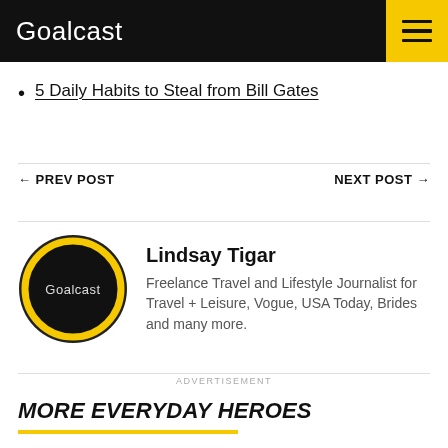Goalcast
5 Daily Habits to Steal from Bill Gates
← PREV POST     NEXT POST →
[Figure (logo): Goalcast circular logo: black circle with yellow/gold ring border and 'Goalcast' text in white]
Lindsay Tigar
Freelance Travel and Lifestyle Journalist for Travel + Leisure, Vogue, USA Today, Brides and many more.
ADVERTISEMENT
MORE EVERYDAY HEROES